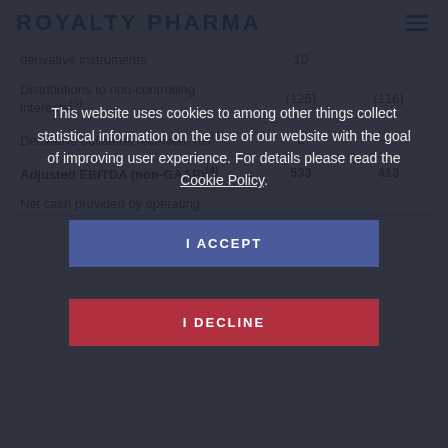ROYALTY PHARMA
|  |  |  |
| --- | --- | --- |
| derivative instruments | 10 |  |
| Distributions to non-controlling interests(6) | (125) | (116) |
| Derivative collateral received, net(6) | 2 | — |
| Adjusted EBITDA (non-GAAP)(4) | 533 | 413 |
| Net cash provided by operating |  |  |
This website uses cookies to among other things collect statistical information on the use of our website with the goal of improving user experience. For details please read the Cookie Policy.
I ACCEPT
I DECLINE